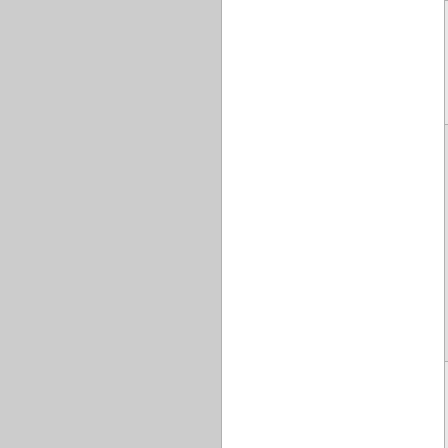| Folder | Description |
| --- | --- |
|  | Linda H. ...
Henry E. M...
Trading a...
Doing Bu...
as Moore'...
Applicatio... |
| Folder 209 | Fayettevil...
Division, ...
Miscellan...
Matters 7...
CIV-3 The...
Prudentia...
Insurance...
Company...
America v...
Jane Hew...
Diana M. M...
A Minor |
| Folder 210 | Fayettevil...
Division, ...
Miscellan...
Matters 7...
CIV-3 Phil...
Fitzgerald...
Individual...
as Execut...
the Estate... |